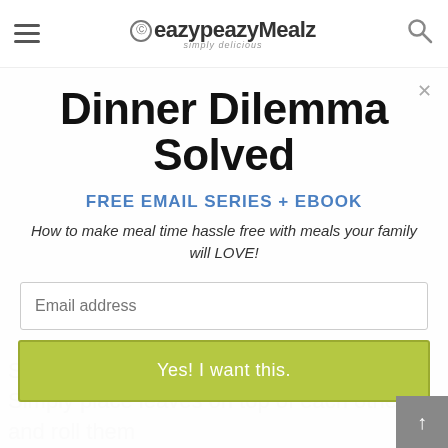eazypeazyMealz — simply delicious
Dinner Dilemma Solved
FREE EMAIL SERIES + EBOOK
How to make meal time hassle free with meals your family will LOVE!
Email address
Yes! I want this.
Simply referring to how to cut the basil. Simply place leaves on top of each other and roll them